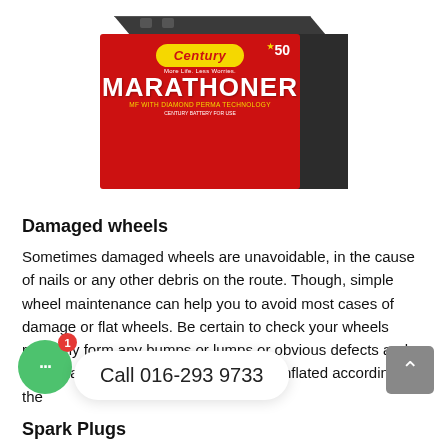[Figure (photo): Century Marathoner MF car battery product image with red label, yellow Century badge, white MARATHONER text, shown at an angle with dark grey battery casing]
Damaged wheels
Sometimes damaged wheels are unavoidable, in the cause of nails or any other debris on the route. Though, simple wheel maintenance can help you to avoid most cases of damage or flat wheels. Be certain to check your wheels regularly form any bumps or lumps or obvious defects and continually check that your wheels are inflated according to the manufacturer's specifications.
Spark Plugs